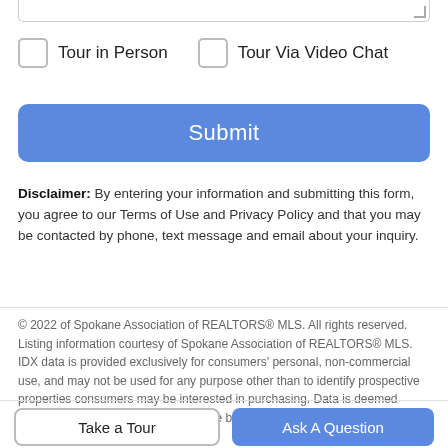Tour in Person
Tour Via Video Chat
Submit
Disclaimer: By entering your information and submitting this form, you agree to our Terms of Use and Privacy Policy and that you may be contacted by phone, text message and email about your inquiry.
© 2022 of Spokane Association of REALTORS® MLS. All rights reserved. Listing information courtesy of Spokane Association of REALTORS® MLS. IDX data is provided exclusively for consumers' personal, non-commercial use, and may not be used for any purpose other than to identify prospective properties consumers may be interested in purchasing. Data is deemed reliable but is not guaranteed accurate by the SARMLS. Data last updated 2022-09-05T16:20:29.993.
Take a Tour
Ask A Question